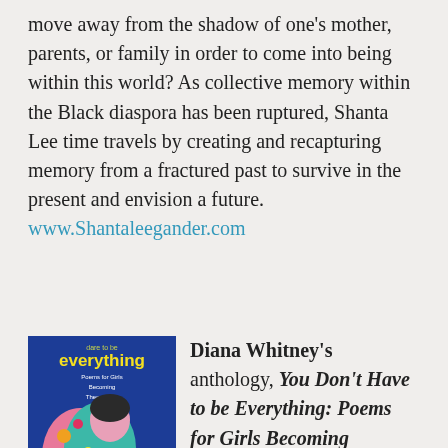move away from the shadow of one's mother, parents, or family in order to come into being within this world? As collective memory within the Black diaspora has been ruptured, Shanta Lee time travels by creating and recapturing memory from a fractured past to survive in the present and envision a future.  www.Shantaleegander.com
[Figure (illustration): Book cover of 'You Don't Have to be Everything: Poems for Girls Becoming Themselves' showing a colorful illustration of a girl's profile with flowers and decorative elements on a blue background]
Diana Whitney's anthology, You Don't Have to be Everything: Poems for Girls Becoming Themselves, is an inclusive collection featuring 68 poets, from luminaries like Maya Angelou and Mary Oliver to innovators like Amanda Gorman and Natalie Diaz. These candid poems address the complex feelings of coming-of-age and offer teen girls a message of self-acceptance and strength, giving them permission to let go of